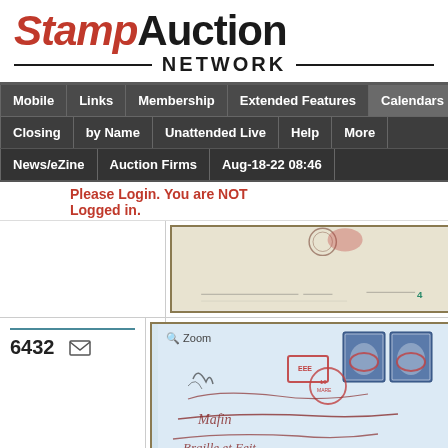[Figure (logo): StampAuction Network logo with red italic Stamp, black Auction, and NETWORK text with horizontal lines]
[Figure (screenshot): Navigation bar with Mobile, Links, Membership, Extended Features, Calendars menu items]
[Figure (screenshot): Sub-navigation bar with Closing, by Name, Unattended Live, Help, More, News/eZine, Auction Firms, Aug-18-22 08:46]
Please Login. You are NOT Logged in.
[Figure (photo): Vintage stamp envelope/cover, beige/cream colored with postmarks, top image]
6432
[Figure (photo): Vintage letter/cover with blue stamps, red postmarks, cursive handwriting - Zoom label visible, lot 6432]